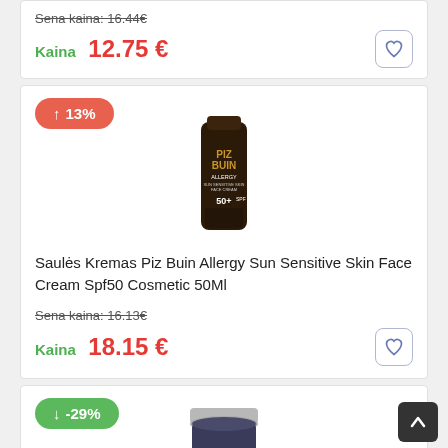Sena kaina: 16.44€
Kaina  12.75 €
[Figure (photo): Piz Buin Allergy Sun Sensitive Skin Face Cream SPF50+ 50ml tube product image]
↑ 13%
Saulės Kremas Piz Buin Allergy Sun Sensitive Skin Face Cream Spf50 Cosmetic 50Ml
Sena kaina: 16.13€
Kaina  18.15 €
↓ -29%